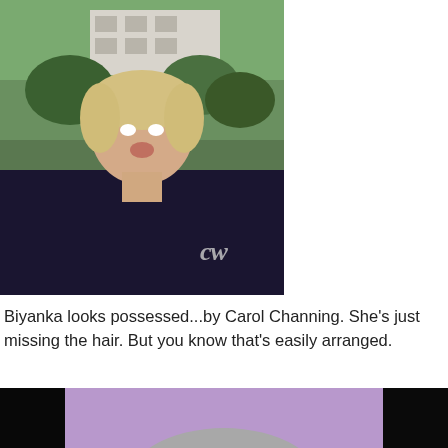[Figure (photo): Photo of a young blonde woman with mouth open, standing outdoors in front of buildings and greenery, with a CW network logo watermark in the lower right corner of the image.]
Biyanka looks possessed...by Carol Channing. She's just missing the hair. But you know that's easily arranged.
[Figure (photo): Photo of a smiling Black woman wearing a short gray/silver wig styled in a vintage bob, against a purple background, with black bars on either side. She is laughing broadly and touching her hair with one hand, wearing a colorful top and jewelry.]